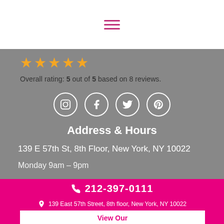[Figure (other): Hamburger menu icon (three horizontal lines) in magenta/pink color on white background]
★★★★★
Overall rating: 5 out of 5 based on 8 reviews.
[Figure (other): Row of four circular white-bordered social media icons: Instagram, Facebook, Twitter, Pinterest on gray background]
Address & Hours
139 E 57th St, 8th Floor, New York, NY 10022
Monday 9am – 9pm
☎ 212-397-0111
📍 139 East 57th Street, 8th floor, New York, NY 10022
View Our Treatments Brochure
Book With Us
[Figure (other): Row of four social media icons: Instagram, Facebook, Twitter, Pinterest in white on pink/magenta footer]